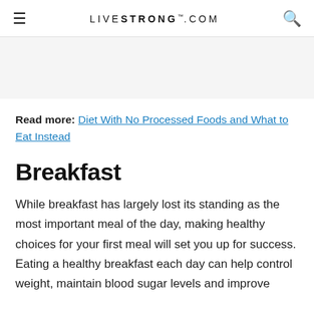LIVESTRONG.COM
Read more: Diet With No Processed Foods and What to Eat Instead
Breakfast
While breakfast has largely lost its standing as the most important meal of the day, making healthy choices for your first meal will set you up for success. Eating a healthy breakfast each day can help control weight, maintain blood sugar levels and improve